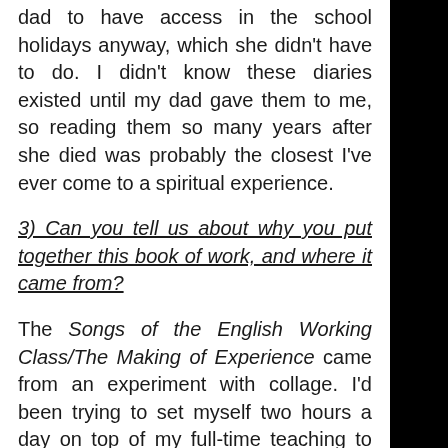dad to have access in the school holidays anyway, which she didn't have to do. I didn't know these diaries existed until my dad gave them to me, so reading them so many years after she died was probably the closest I've ever come to a spiritual experience.
3) Can you tell us about why you put together this book of work, and where it came from?
The Songs of the English Working Class/The Making of Experience came from an experiment with collage. I'd been trying to set myself two hours a day on top of my full-time teaching to work on creative writing, and I was having a phase of working with blackout and cento poems, where basically you